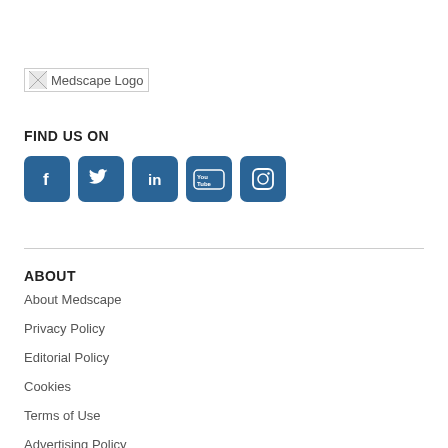[Figure (logo): Medscape Logo placeholder image with broken image icon and alt text]
FIND US ON
[Figure (infographic): Social media icons: Facebook, Twitter, LinkedIn, YouTube, Instagram — all on blue square buttons]
ABOUT
About Medscape
Privacy Policy
Editorial Policy
Cookies
Terms of Use
Advertising Policy